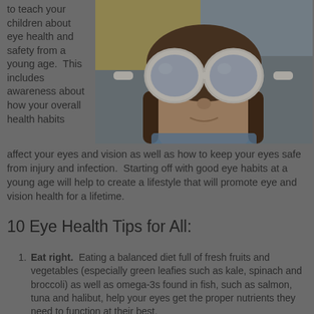to teach your children about eye health and safety from a young age. This includes awareness about how your overall health habits affect your eyes and vision as well as how to keep your eyes safe from injury and infection. Starting off with good eye habits at a young age will help to create a lifestyle that will promote eye and vision health for a lifetime.
[Figure (photo): A child wearing large white round goggles/sunglasses, looking upward, with braids visible, wearing a yellow shirt.]
10 Eye Health Tips for All:
Eat right. Eating a balanced diet full of fresh fruits and vegetables (especially green leafies such as kale, spinach and broccoli) as well as omega-3s found in fish, such as salmon, tuna and halibut, help your eyes get the proper nutrients they need to function at their best.